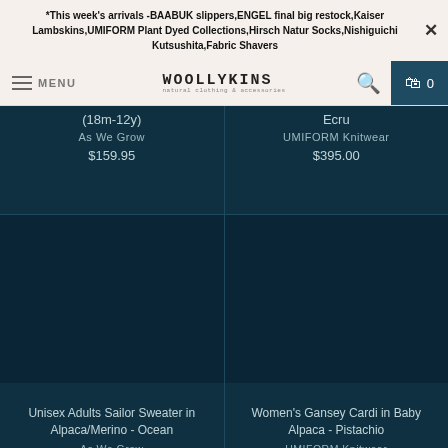*This week's arrivals -BAABUK slippers,ENGEL final big restock,Kaiser Lambskins,UMIFORM Plant Dyed Collections,Hirsch Natur Socks,Nishiguichi Kutsushita,Fabric Shavers
WOOLLYKINS — MENU | Search | Cart 0
(18m-12y)
As We Grow
$159.95
Ecru
UMIFORM Knitwear
$395.00
Unisex Adults Sailor Sweater in Alpaca/Merino - Ocean
As We Grow
Women's Gansey Cardi in Baby Alpaca - Pistachio
UMIFORM Knitwear